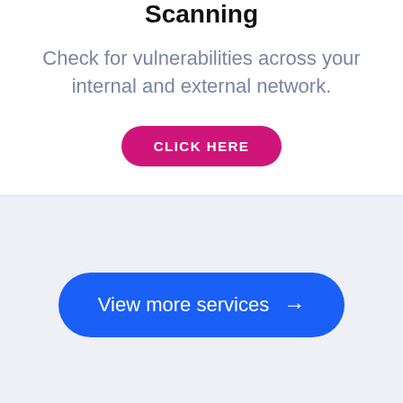Scanning
Check for vulnerabilities across your internal and external network.
CLICK HERE
View more services →